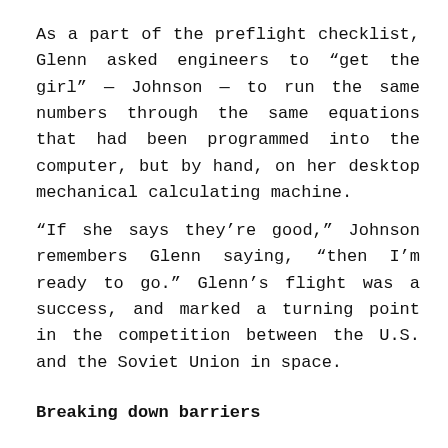As a part of the preflight checklist, Glenn asked engineers to “get the girl” — Johnson — to run the same numbers through the same equations that had been programmed into the computer, but by hand, on her desktop mechanical calculating machine.
“If she says they’re good,” Johnson remembers Glenn saying, “then I’m ready to go.” Glenn’s flight was a success, and marked a turning point in the competition between the U.S. and the Soviet Union in space.
Breaking down barriers